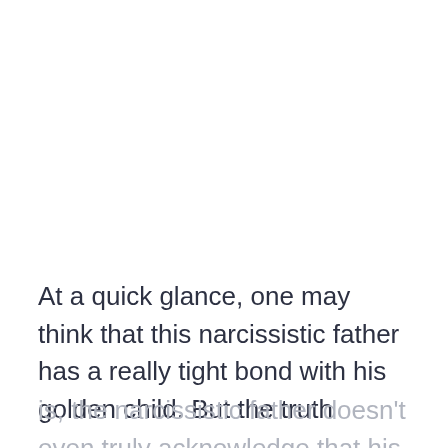At a quick glance, one may think that this narcissistic father has a really tight bond with his golden child. But the truth
is, the narcissistic father doesn't even truly acknowledge that his child is a